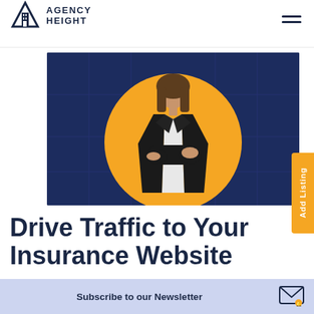AGENCY HEIGHT
[Figure (photo): Professional woman in black blazer with arms crossed, standing in front of a large yellow circle on a dark navy blue background. Insurance agency marketing hero image.]
Drive Traffic to Your Insurance Website
Subscribe to our Newsletter